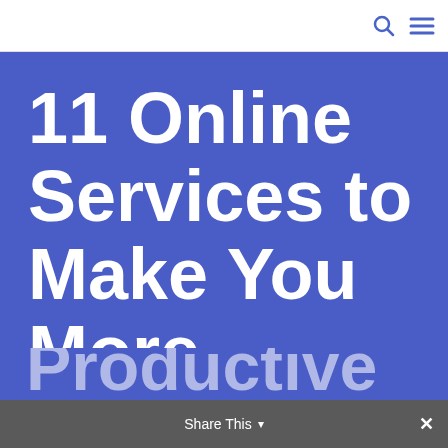11 Online Services to Make You More Productive
Share This ×